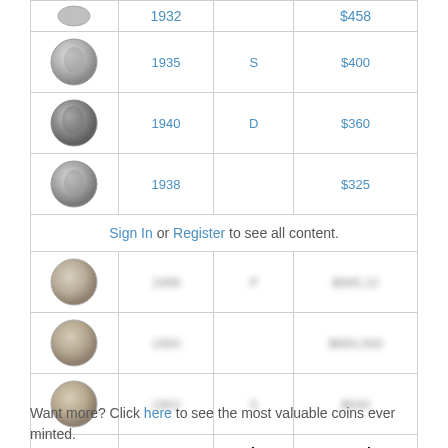| Image | Name | Mint | Worth |
| --- | --- | --- | --- |
| [coin image] | 1932 |  | $458 |
| [coin image] | 1935 | S | $400 |
| [coin image] | 1940 | D | $360 |
| [coin image] | 1938 |  | $325 |
| Sign In or Register to see all content. |  |  |  |
| [coin image] | [blurred] | [blurred] | [blurred] |
| [coin image] | [blurred] |  | [blurred] |
| [coin image] | [blurred] | [blurred] | [blurred] |
Want more? Click here to see the most valuable coins ever minted.